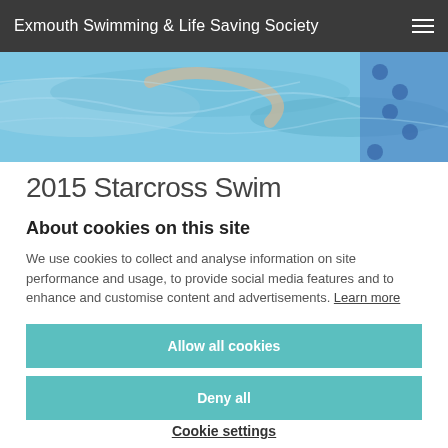Exmouth Swimming & Life Saving Society
[Figure (photo): A swimming pool aerial view showing water with blue lane ropes and a swimmer's arm visible]
2015 Starcross Swim
About cookies on this site
We use cookies to collect and analyse information on site performance and usage, to provide social media features and to enhance and customise content and advertisements. Learn more
Allow all cookies
Deny all
Cookie settings